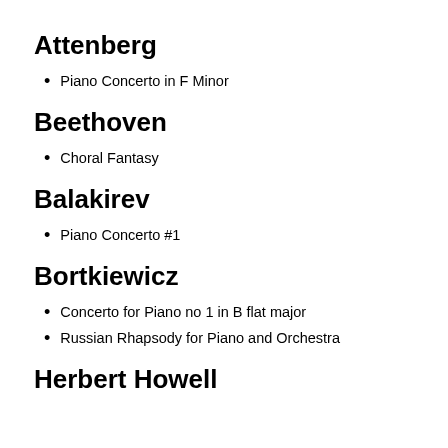Attenberg
Piano Concerto in F Minor
Beethoven
Choral Fantasy
Balakirev
Piano Concerto #1
Bortkiewicz
Concerto for Piano no 1 in B flat major
Russian Rhapsody for Piano and Orchestra
Herbert Howell